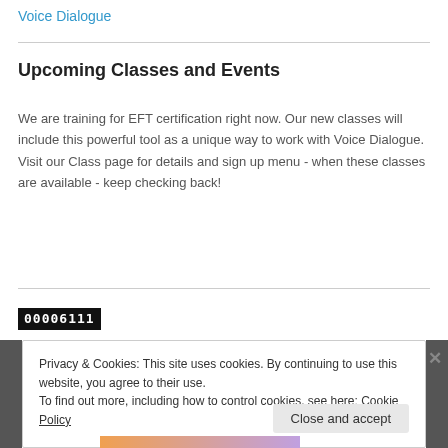Voice Dialogue
Upcoming Classes and Events
We are training for EFT certification right now. Our new classes will include this powerful tool as a unique way to work with Voice Dialogue. Visit our Class page for details and sign up menu - when these classes are available - keep checking back!
00006111
Privacy & Cookies: This site uses cookies. By continuing to use this website, you agree to their use.
To find out more, including how to control cookies, see here: Cookie Policy
Close and accept